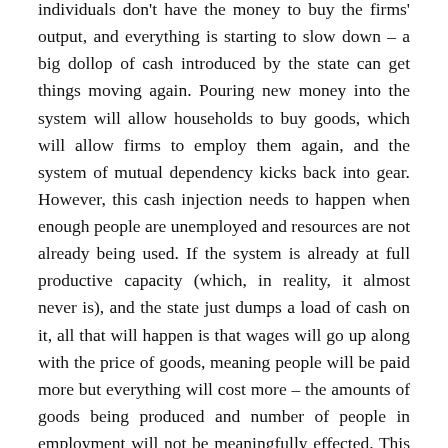individuals don't have the money to buy the firms' output, and everything is starting to slow down – a big dollop of cash introduced by the state can get things moving again. Pouring new money into the system will allow households to buy goods, which will allow firms to employ them again, and the system of mutual dependency kicks back into gear. However, this cash injection needs to happen when enough people are unemployed and resources are not already being used. If the system is already at full productive capacity (which, in reality, it almost never is), and the state just dumps a load of cash on it, all that will happen is that wages will go up along with the price of goods, meaning people will be paid more but everything will cost more – the amounts of goods being produced and number of people in employment will not be meaningfully effected. This concept is known as inflation.
Monetarism – the school of economic theory that took over from Keynesianism and has dominated policy in the past 40 years or so – posits that government spending always leads to inflation. These monetarists argue that left to itself there is a natural balance between the many actors in the system, and